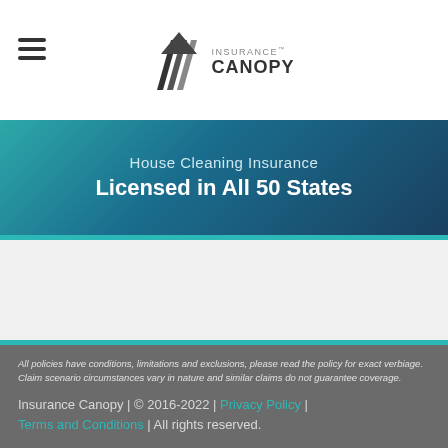Insurance Canopy [logo]
House Cleaning Insurance
Licensed in All 50 States
All policies have conditions, limitations and exclusions, please read the policy for exact verbiage. Claim scenario circumstances vary in nature and similar claims do not guarantee coverage.
Insurance Canopy | © 2016-2022 | Privacy Policy | Terms and Conditions | All rights reserved.